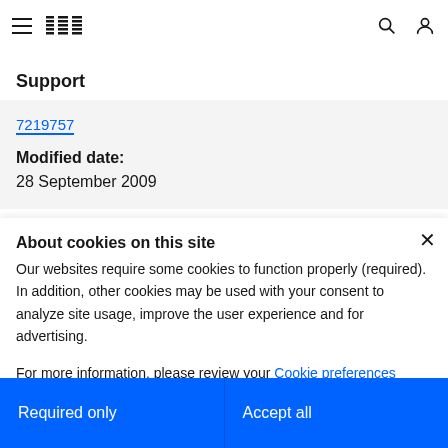IBM Support
7219757
Modified date:
28 September 2009
About cookies on this site
Our websites require some cookies to function properly (required). In addition, other cookies may be used with your consent to analyze site usage, improve the user experience and for advertising.
For more information, please review your Cookie preferences options and IBM's privacy statement.
Required only
Accept all